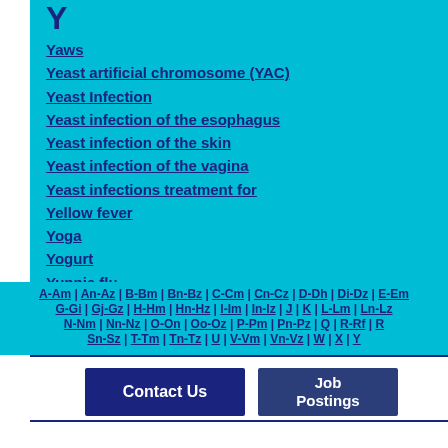Y
Yaws
Yeast artificial chromosome (YAC)
Yeast Infection
Yeast infection of the esophagus
Yeast infection of the skin
Yeast infection of the vagina
Yeast infections treatment for
Yellow fever
Yoga
Yogurt
Yuppie flu
A-Am | An-Az | B-Bm | Bn-Bz | C-Cm | Cn-Cz | D-Dh | Di-Dz | E-Em | G-Gi | Gj-Gz | H-Hm | Hn-Hz | I-Im | In-Iz | J | K | L-Lm | Ln-Lz | N-Nm | Nn-Nz | O-On | Oo-Oz | P-Pm | Pn-Pz | Q | R-Rf | R | Sn-Sz | T-Tm | Tn-Tz | U | V-Vm | Vn-Vz | W | X | Y
Contact Us
Job Postings